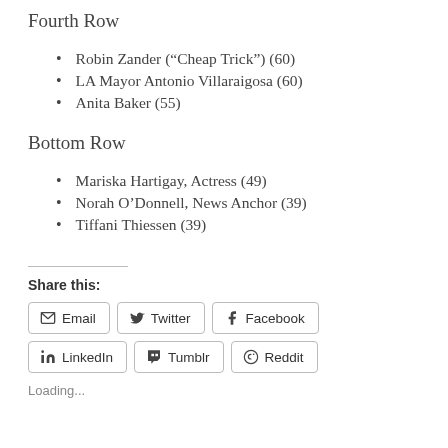Fourth Row
Robin Zander (“Cheap Trick”) (60)
LA Mayor Antonio Villaraigosa (60)
Anita Baker (55)
Bottom Row
Mariska Hartigay, Actress (49)
Norah O’Donnell, News Anchor (39)
Tiffani Thiessen (39)
Share this:
Email  Twitter  Facebook  LinkedIn  Tumblr  Reddit
Loading...